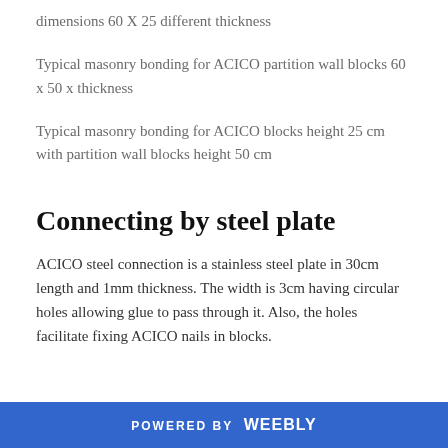dimensions 60 X 25 different thickness
Typical masonry bonding for ACICO partition wall blocks 60 x 50 x thickness
Typical masonry bonding for ACICO blocks height 25 cm with partition wall blocks height 50 cm
Connecting by steel plate
ACICO steel connection is a stainless steel plate in 30cm length and 1mm thickness. The width is 3cm having circular holes allowing glue to pass through it. Also, the holes facilitate fixing ACICO nails in blocks.
POWERED BY weebly